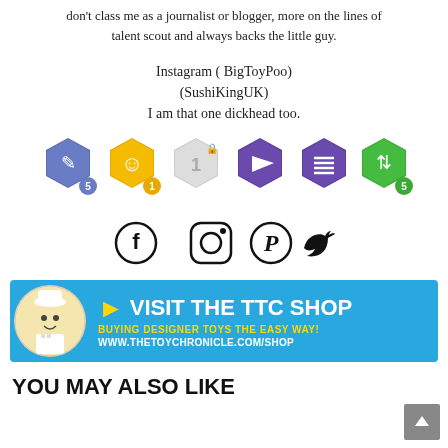don't class me as a journalist or blogger, more on the lines of talent scout and always backs the little guy.
Instagram ( BigToyPoo)
(SushiKingUK)
I am that one dickhead too.
[Figure (infographic): Six hexagonal badge icons in a row: blue pencil badge with '5', yellow smiley badge with '1', grey/silver hexagon with '1' and a lock icon, purple play button badge, purple list/text badge, green up/down arrow badge with '5']
[Figure (infographic): Four social media icons in a row: Facebook (circle f), Instagram (camera), Pinterest (P), Twitter (bird)]
[Figure (illustration): Blue banner ad for TTC Shop. Shows a cartoon chef girl on left in circular frame, arrow pointing right, white text 'VISIT THE TTC SHOP', yellow text 'BUYING DESIGNER TOYS THE EASY WAY!', white text 'WWW.THETOYCHRONICLE.COM/SHOP']
YOU MAY ALSO LIKE